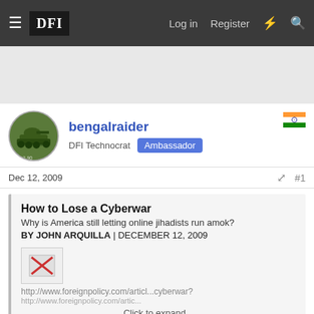DFI  Log in  Register
[Figure (screenshot): User avatar showing a military tank on green background]
bengalraider
DFI Technocrat  Ambassador
Dec 12, 2009  #1
How to Lose a Cyberwar
Why is America still letting online jihadists run amok?
BY JOHN ARQUILLA | DECEMBER 12, 2009
http://www.foreignpolicy.com/articl...cyberwar?
Click to expand...
i for one do not agree with the author, cyber spying could be